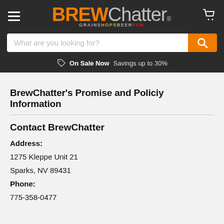[Figure (logo): BrewChatter logo with BREW in orange bold, Chatter in gray, and tagline GRAINS HOPS BEER FUN]
What are you looking for? [search bar]  On Sale Now  Savings up to 30%
BrewChatter's Promise and Policiy Information
Contact BrewChatter
Address:
1275 Kleppe Unit 21
Sparks, NV 89431
Phone:
775-358-0477